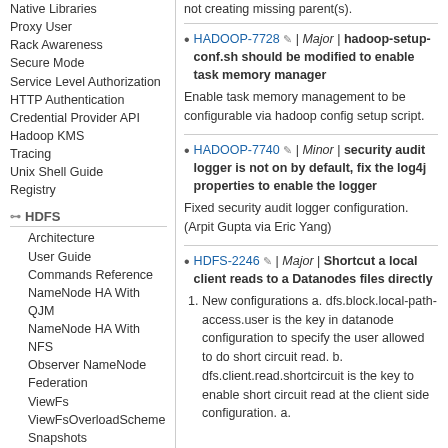Native Libraries
Proxy User
Rack Awareness
Secure Mode
Service Level Authorization
HTTP Authentication
Credential Provider API
Hadoop KMS
Tracing
Unix Shell Guide
Registry
HDFS
Architecture
User Guide
Commands Reference
NameNode HA With QJM
NameNode HA With NFS
Observer NameNode
Federation
ViewFs
ViewFsOverloadScheme
Snapshots
Edits Viewer
Image Viewer
Permissions and HDFS
Quotas and HDFS
libhdfs (C API)
WebHDFS (REST API)
HttpFS
Short Circuit Local Reads
Centralized Cache Management
NFS Gateway
not creating missing parent(s).
HADOOP-7728 | Major | hadoop-setup-conf.sh should be modified to enable task memory manager
Enable task memory management to be configurable via hadoop config setup script.
HADOOP-7740 | Minor | security audit logger is not on by default, fix the log4j properties to enable the logger
Fixed security audit logger configuration. (Arpit Gupta via Eric Yang)
HDFS-2246 | Major | Shortcut a local client reads to a Datanodes files directly
1. New configurations a. dfs.block.local-path-access.user is the key in datanode configuration to specify the user allowed to do short circuit read. b. dfs.client.read.shortcircuit is the key to enable short circuit read at the client side configuration. a.